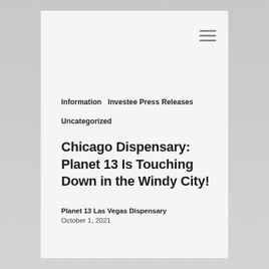Information   Investee Press Releases
Uncategorized
Chicago Dispensary: Planet 13 Is Touching Down in the Windy City!
Planet 13 Las Vegas Dispensary
October 1, 2021